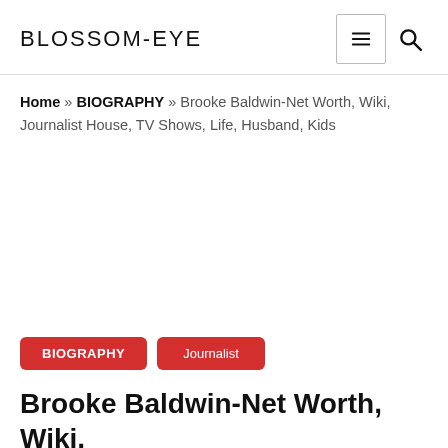BLOSSOM-EYE
Home » BIOGRAPHY » Brooke Baldwin-Net Worth, Wiki, Journalist House, TV Shows, Life, Husband, Kids
[Figure (other): Advertisement / blank white space area]
BIOGRAPHY  Journalist
Brooke Baldwin-Net Worth, Wiki, Journalist House, TV Shows, Life,